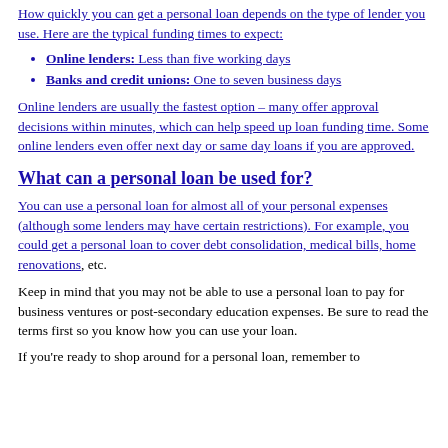How quickly you can get a personal loan depends on the type of lender you use. Here are the typical funding times to expect:
Online lenders: Less than five working days
Banks and credit unions: One to seven business days
Online lenders are usually the fastest option – many offer approval decisions within minutes, which can help speed up loan funding time. Some online lenders even offer next day or same day loans if you are approved.
What can a personal loan be used for?
You can use a personal loan for almost all of your personal expenses (although some lenders may have certain restrictions). For example, you could get a personal loan to cover debt consolidation, medical bills, home renovations, etc.
Keep in mind that you may not be able to use a personal loan to pay for business ventures or post-secondary education expenses. Be sure to read the terms first so you know how you can use your loan.
If you're ready to shop around for a personal loan, remember to